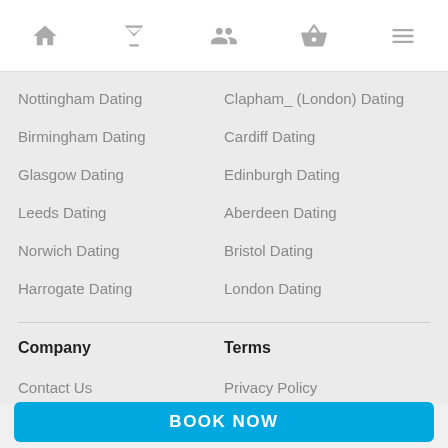[Navigation bar with home, cocktail, people, basket, and menu icons]
Nottingham Dating
Clapham_ (London) Dating
Birmingham Dating
Cardiff Dating
Glasgow Dating
Edinburgh Dating
Leeds Dating
Aberdeen Dating
Norwich Dating
Bristol Dating
Harrogate Dating
London Dating
Company
Terms
Contact Us
Privacy Policy
About Us
Terms of Use
BOOK NOW